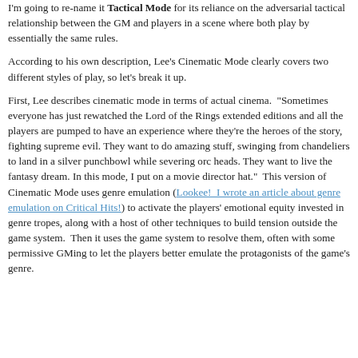I'm going to re-name it Tactical Mode for its reliance on the adversarial tactical relationship between the GM and players in a scene where both play by essentially the same rules.
According to his own description, Lee's Cinematic Mode clearly covers two different styles of play, so let's break it up.
First, Lee describes cinematic mode in terms of actual cinema.  "Sometimes everyone has just rewatched the Lord of the Rings extended editions and all the players are pumped to have an experience where they're the heroes of the story, fighting supreme evil. They want to do amazing stuff, swinging from chandeliers to land in a silver punchbowl while severing orc heads. They want to live the fantasy dream. In this mode, I put on a movie director hat."  This version of Cinematic Mode uses genre emulation (Lookee!  I wrote an article about genre emulation on Critical Hits!) to activate the players' emotional equity invested in genre tropes, along with a host of other techniques to build tension outside the game system.  Then it uses the game system to resolve them, often with some permissive GMing to let the players better emulate the protagonists of the game's genre.